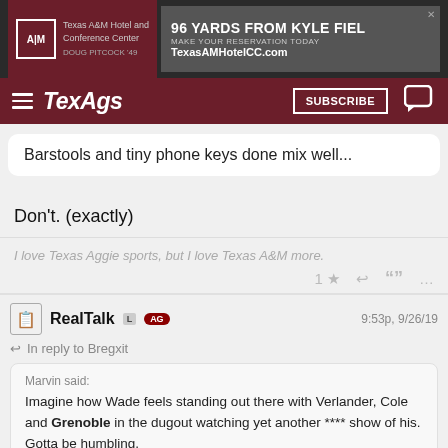[Figure (screenshot): Texas A&M Hotel and Conference Center advertisement banner. Logo on left, '96 YARDS FROM KYLE FIELD' headline on right, TexasAMHotelCC.com URL.]
TexAgs — navigation bar with hamburger menu, SUBSCRIBE button, and chat icon
Barstools and tiny phone keys done mix well...
Don't. (exactly)
I love Texas Aggie sports, but I love Texas A&M more.
RealTalk  L  AG  9:53p, 9/26/19
In reply to Bregxit
Marvin said: Imagine how Wade feels standing out there with Verlander, Cole and Grenoble in the dugout watching yet another **** show of his. Gotta be humbling.